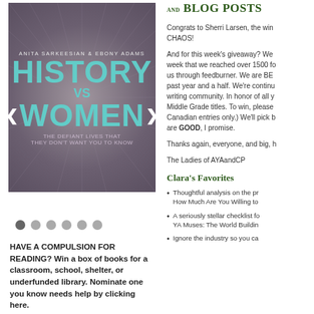[Figure (illustration): Book cover of 'History vs Women: The Defiant Lives They Don't Want You to Know' by Anita Sarkeesian & Ebony Adams, teal/purple design with large bold typography]
Dots navigation row (6 dots, first active)
HAVE A COMPULSION FOR READING? Win a box of books for a classroom, school, shelter, or underfunded library. Nominate one you know needs help by clicking here.
AND BLOG POSTS
Congrats to Sherri Larsen, the winner of CHAOS!
And for this week's giveaway? We celebrated this week that we reached over 1500 followers with us through feedburner. We are BE... past year and a half. We're continuing the writing community. In honor of all y... Middle Grade titles. To win, please... Canadian entries only.) We'll pick b... are GOOD, I promise.
Thanks again, everyone, and big, h...
The Ladies of AYAandCP
Clara's Favorites
Thoughtful analysis on the pr... How Much Are You Willing to...
A seriously stellar checklist fo... YA Muses: The World Buildin...
Ignore the industry so you ca...